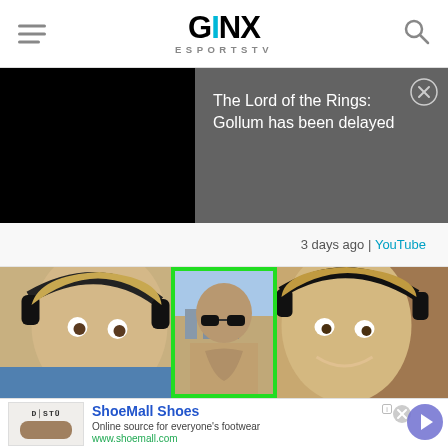GINX ESPORTS TV
[Figure (screenshot): Dark/black video thumbnail panel on the left side of the banner]
The Lord of the Rings: Gollum has been delayed
3 days ago | YouTube
[Figure (photo): Three-panel thumbnail image showing two men with headphones on either side and a bald tattooed man with sunglasses in the center with a green border]
[Figure (screenshot): ShoeMall Shoes advertisement banner with shoe image, title, description and URL]